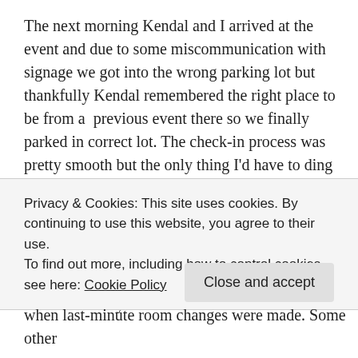The next morning Kendal and I arrived at the event and due to some miscommunication with signage we got into the wrong parking lot but thankfully Kendal remembered the right place to be from a previous event there so we finally parked in correct lot. The check-in process was pretty smooth but the only thing I'd have to ding Jack/Andy for is the placement of vendor tables in that opening hallway. The doorway to and from that vendor hallway was really crammed and made it a bit of a hassle to get to/from but I can't ding them too bad as you can tell it was placed there out of necessity since we
Privacy & Cookies: This site uses cookies. By continuing to use this website, you agree to their use.
To find out more, including how to control cookies, see here: Cookie Policy
Close and accept
when last-minute room changes were made. Some other